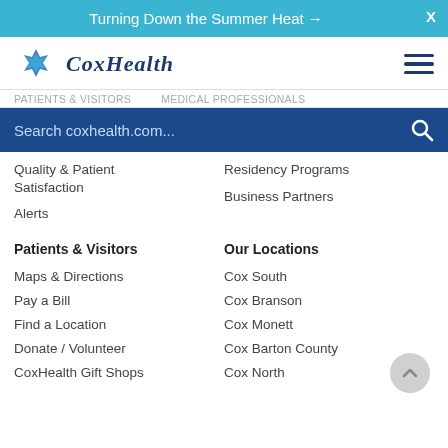Turning Down the Summer Heat →
[Figure (logo): CoxHealth logo with blue star/cross icon and italic serif text]
Search coxhealth.com...
Quality & Patient Satisfaction
Alerts
Residency Programs
Business Partners
Patients & Visitors
Our Locations
Maps & Directions
Pay a Bill
Find a Location
Donate / Volunteer
CoxHealth Gift Shops
Cox South
Cox Branson
Cox Monett
Cox Barton County
Cox North